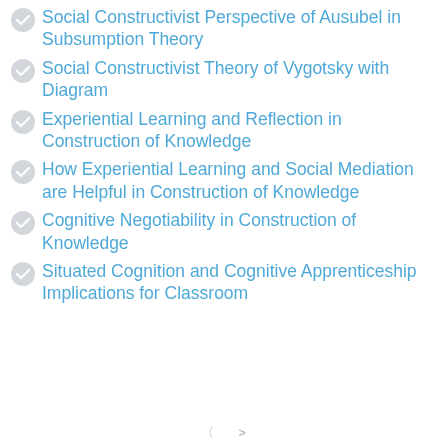Social Constructivist Perspective of Ausubel in Subsumption Theory
Social Constructivist Theory of Vygotsky with Diagram
Experiential Learning and Reflection in Construction of Knowledge
How Experiential Learning and Social Mediation are Helpful in Construction of Knowledge
Cognitive Negotiability in Construction of Knowledge
Situated Cognition and Cognitive Apprenticeship Implications for Classroom (truncated)